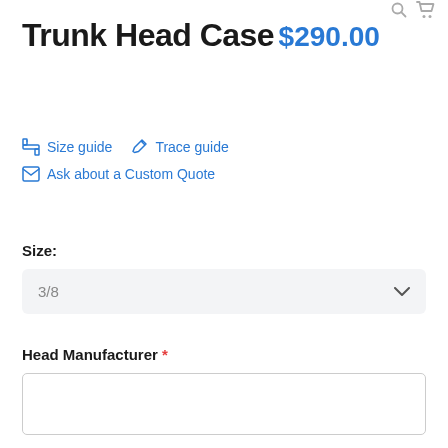Trunk Head Case
$290.00
Size guide  Trace guide  Ask about a Custom Quote
Size:
3/8
Head Manufacturer *